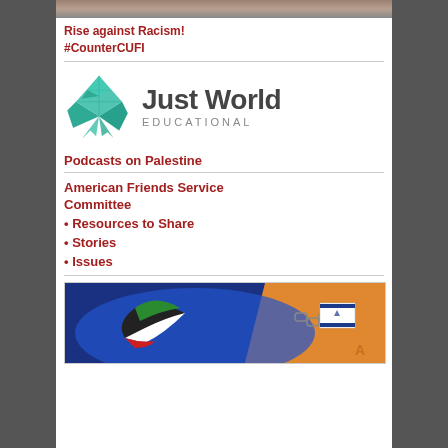[Figure (photo): Top photo strip showing a crowd scene, partially visible]
Rise against Racism!
#CounterCUFI
[Figure (logo): Just World Educational logo — teal origami bird with text 'Just World EDUCATIONAL']
Podcasts on Palestine
American Friends Service Committee
• Resources to Share
• Stories
• Issues
[Figure (illustration): Colorful illustration showing a bird with Palestinian flag colors, chains, Israeli flag imagery, on blue and orange background]